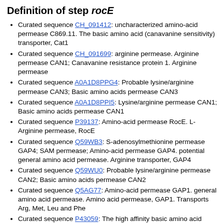Definition of step rocE
Curated sequence CH_091412: uncharacterized amino-acid permease C869.11. The basic amino acid (canavanine sensitivity) transporter, Cat1
Curated sequence CH_091699: arginine permease. Arginine permease CAN1; Canavanine resistance protein 1. Arginine permease
Curated sequence A0A1D8PPG4: Probable lysine/arginine permease CAN3; Basic amino acids permease CAN3
Curated sequence A0A1D8PPI5: Lysine/arginine permease CAN1; Basic amino acids permease CAN1
Curated sequence P39137: Amino-acid permease RocE. L-Arginine permease, RocE
Curated sequence Q59WB3: S-adenosylmethionine permease GAP4; SAM permease; Amino-acid permease GAP4. potential general amino acid permease. Arginine transporter, GAP4
Curated sequence Q59WU0: Probable lysine/arginine permease CAN2; Basic amino acids permease CAN2
Curated sequence Q5AG77: Amino-acid permease GAP1. general amino acid permease. Amino acid permease, GAP1. Transports Arg, Met, Leu and Phe
Curated sequence P43059: The high affinity basic amino acid (Arg, Lys, His) transporter, Can1